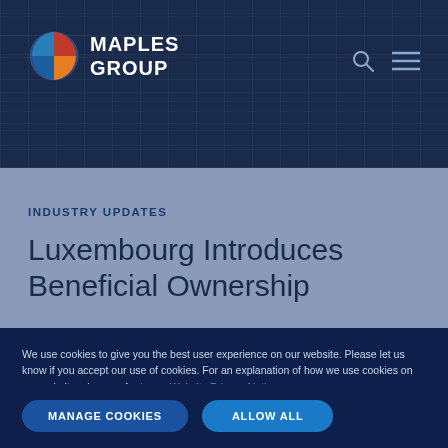[Figure (logo): Maples Group logo with circular icon in blue, red and orange, with white text MAPLES GROUP]
INDUSTRY UPDATES
Luxembourg Introduces Beneficial Ownership
We use cookies to give you the best user experience on our website. Please let us know if you accept our use of cookies. For an explanation of how we use cookies on our website, please refer to our Website Privacy Notice.
MANAGE COOKIES   ALLOW ALL